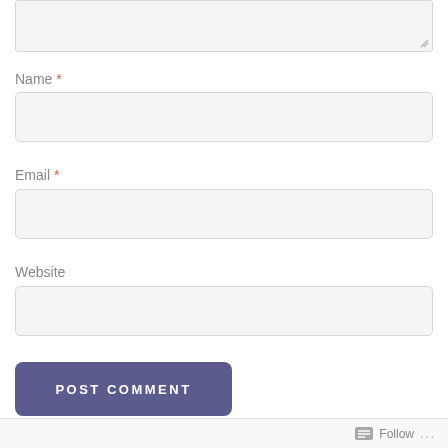[Figure (screenshot): Top portion of a textarea form field (truncated at top)]
Name *
[Figure (screenshot): Name input text field (empty, light gray background)]
Email *
[Figure (screenshot): Email input text field (empty, light gray background)]
Website
[Figure (screenshot): Website input text field (empty, light gray background)]
[Figure (screenshot): POST COMMENT button (dark blue-purple rounded rectangle)]
Follow ...